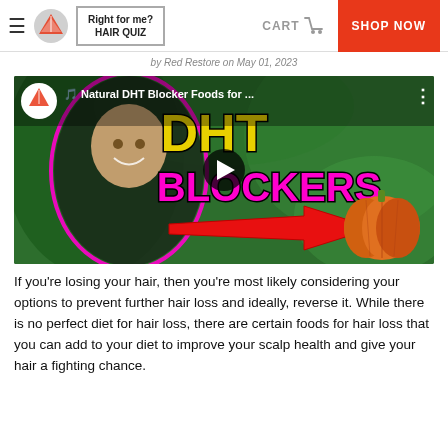≡ [Logo] Right for me? HAIR QUIZ   CART [icon]   SHOP NOW
by Red Restore on May 01, 2023
[Figure (screenshot): YouTube video thumbnail for 'Natural DHT Blocker Foods for...' showing a smiling man with 'DHT BLOCKERS' text in yellow and pink, a red arrow pointing to a pumpkin, on a green nature background. Includes Red Restore logo, video title bar, and play button.]
If you're losing your hair, then you're most likely considering your options to prevent further hair loss and ideally, reverse it. While there is no perfect diet for hair loss, there are certain foods for hair loss that you can add to your diet to improve your scalp health and give your hair a fighting chance.